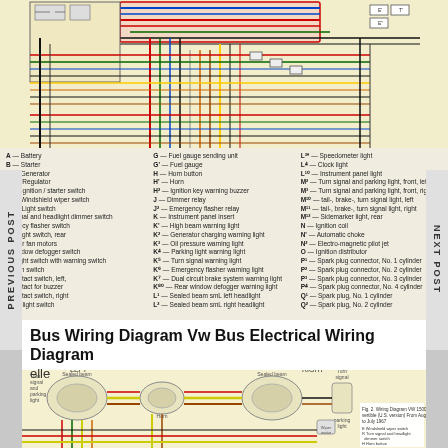[Figure (schematic): VW Bus electrical wiring diagram - top portion showing colorful wiring schematic with multiple colored wire routes, connectors, and components on a cream/yellow background]
A — Battery
B — Starter
C — Generator
C' — Regulator
D — Ignition / starter switch
E — Windshield wiper switch
L' — Light switch
L' — signal and headlight dimmer switch
gency flasher switch
or light switch, rear
h for fan motors
window defogger switch
s light switch with warning switch
horn switch
contact switch, left,
contact for buzzer
contact switch, right
-up light switch

G — Fuel gauge sending unit
G' — Fuel gauge
H — Horn button
H' — Horn
H² — Ignition key warning buzzer
J — Dimmer relay
J² — Emergency flasher relay
K — Instrument panel insert
K' — High beam warning light
K² — Generator charging warning light
K³ — Oil pressure warning light
K⁴ — Parking light warning light
K⁵ — Turn signal warning light
K⁶ — Emergency flasher warning light
K⁷ — Dual circuit brake system warning light
K⁸⁰ — Rear window defogger warning light
L¹ — Sealed beam smL left headlight
L² — Sealed beam smL right headlight

L³* — Speedometer light
L⁴ — Clock light
L¹⁰ — Instrument panel light
M² — Turn signal and parking light, front, left
M³ — Turn signal and parking light, front, right
M¹⁰ — tail-, brake-, turn signal light, left
M¹¹ — tail-, brake-, turn signal light, right
M¹² — Sidemarker light, rear
N — Ignition coil
N' — Automatic choke
N² — Electro-magnetic pilot jet
O — Ignition distributor
P¹ — Spark plug connector, No. 1 cylinder
P² — Spark plug connector, No. 2 cylinder
P³ — Spark plug connector, No. 3 cylinder
P⁴ — Spark plug connector, No. 4 cylinder
Q¹ — Spark plug, No. 1 cylinder
Q² — Spark plug, No. 2 cylinder
Bus Wiring Diagram Vw Bus Electrical Wiring Diagram
elle
[Figure (schematic): VW 1500 Sedan and Convertible wiring diagram showing LEFT and RIGHT headlight assemblies (sealed beam, horn, turn signal and parking light) connected by colored wiring harness. Fig. 2. Wiring Diagram VW 1500 Sedan and Convertible (U.S. version) From August 1966 to July 1967. Labels: E - Windshield wiper switch, R - Turn signal and headlight dimmer switch, H - Horn button, H² - Steering column coiler, J - Turn signal and emergency flasher relay, J² - Dimmer relay, P - Brake light switch (2), R - High beam warning light]